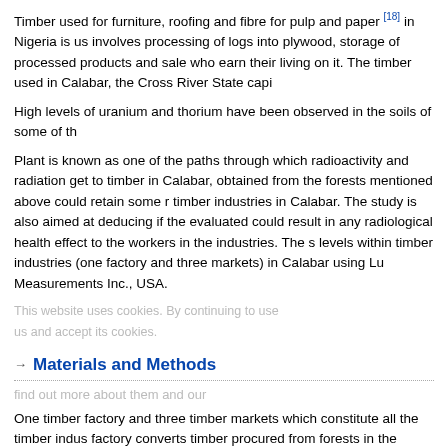Timber used for furniture, roofing and fibre for pulp and paper [18] in Nigeria is us... involves processing of logs into plywood, storage of processed products and sale... who earn their living on it. The timber used in Calabar, the Cross River State capi...
High levels of uranium and thorium have been observed in the soils of some of th...
Plant is known as one of the paths through which radioactivity and radiation get to... timber in Calabar, obtained from the forests mentioned above could retain some r... timber industries in Calabar. The study is also aimed at deducing if the evaluated... could result in any radiological health effect to the workers in the industries. The s... levels within timber industries (one factory and three markets) in Calabar using Lu... Measurements Inc., USA.
Materials and Methods
One timber factory and three timber markets which constitute all the timber indus... factory converts timber procured from forests in the northern part of Cross River S... factory consists of administrative block, processing room and stores for finished p... timber markets consist of opened stalls which are used as sales outlets or machi... to different sizes before placing them in the sales outlets for sale to buyers. [Figu... where the planks are piled up from the floor to the roof of the shade.